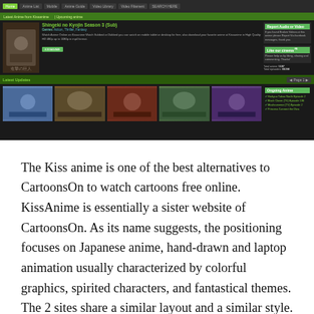[Figure (screenshot): Screenshot of KissAnime website showing navigation bar, featured anime 'Shingeki no Kyojin Season 3 (Sub)', sidebar with report/like sections, latest updates section with anime thumbnails, and ongoing anime list.]
The Kiss anime is one of the best alternatives to CartoonsOn to watch cartoons free online. KissAnime is essentially a sister website of CartoonsOn. As its name suggests, the positioning focuses on Japanese anime, hand-drawn and laptop animation usually characterized by colorful graphics, spirited characters, and fantastical themes. The 2 sites share a similar layout and a similar style. Thus, KissAnime ought to feel